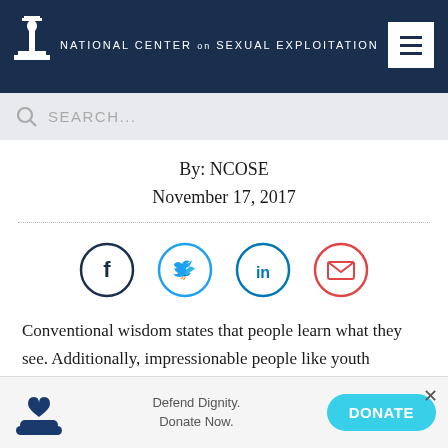NATIONAL CENTER ON SEXUAL EXPLOITATION
By: NCOSE
November 17, 2017
[Figure (infographic): Four social sharing icons in circles: Facebook (dark blue outline), Twitter (blue outline), LinkedIn (blue outline), Email (red outline)]
Conventional wisdom states that people learn what they see. Additionally, impressionable people like youth
Defend Dignity. Donate Now.
DONATE